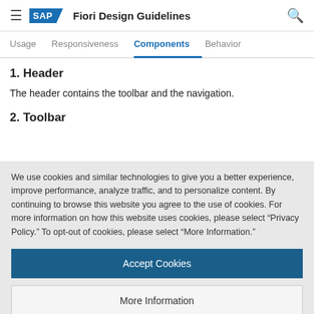SAP Fiori Design Guidelines
1. Header
The header contains the toolbar and the navigation.
2. Toolbar
We use cookies and similar technologies to give you a better experience, improve performance, analyze traffic, and to personalize content. By continuing to browse this website you agree to the use of cookies. For more information on how this website uses cookies, please select “Privacy Policy.” To opt-out of cookies, please select “More Information.”
Accept Cookies
More Information
Privacy Policy | Powered by: TrustArc
different time intervals. The default views are day, work